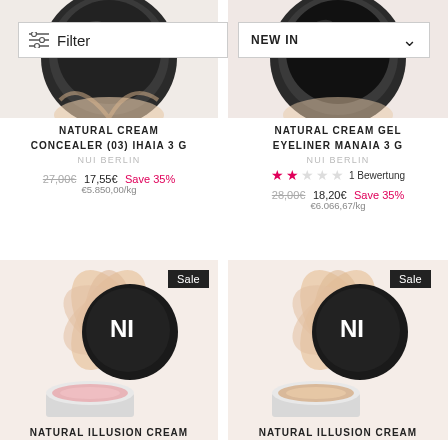[Figure (photo): Top-left product photo: NUI Berlin cream concealer in round black compact, partially visible from top]
[Figure (photo): Top-right product photo: NUI Berlin gel eyeliner in round black compact, partially visible from top]
NATURAL CREAM CONCEALER (03) IHAIA 3 G
NUI BERLIN
27,00€ 17,55€ Save 35%
€5.850,00/kg
NATURAL CREAM GEL EYELINER MANAIA 3 G
NUI BERLIN
★★☆☆☆ 1 Bewertung
28,00€ 18,20€ Save 35%
€6.066,67/kg
[Figure (photo): Bottom-left product photo: NUI Berlin natural illusion cream eyeshadow, pink shade, open jar with petal decoration]
[Figure (photo): Bottom-right product photo: NUI Berlin natural illusion cream eyeshadow, beige/nude shade, open jar with petal decoration]
NATURAL ILLUSION CREAM
NATURAL ILLUSION CREAM